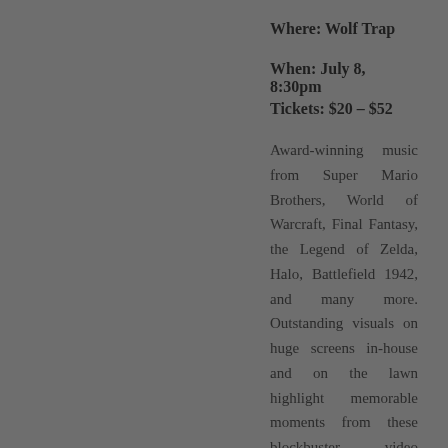Where: Wolf Trap
When: July 8, 8:30pm
Tickets: $20 – $52
Award-winning music from Super Mario Brothers, World of Warcraft, Final Fantasy, the Legend of Zelda, Halo, Battlefield 1942, and many more. Outstanding visuals on huge screens in-house and on the lawn highlight memorable moments from these blockbuster video games.
Share this:
[Figure (infographic): Social sharing icons: Facebook (blue circle), Twitter (teal circle), Pinterest (dark red circle), Email (envelope icon), LinkedIn (dark teal circle)]
Filed under All ages, DC, Live
12 Comments